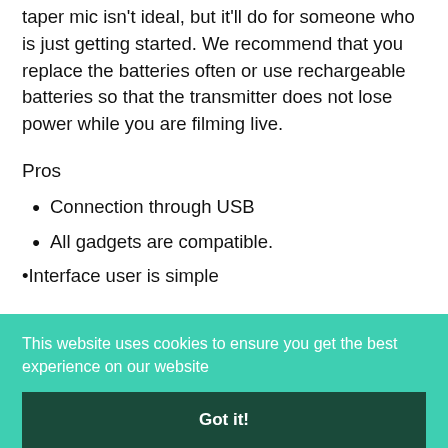taper mic isn't ideal, but it'll do for someone who is just getting started. We recommend that you replace the batteries often or use rechargeable batteries so that the transmitter does not lose power while you are filming live.
Pros
Connection through USB
All gadgets are compatible.
Interface user is simple
This website uses cookies to ensure you get the best experience on our website
Got it!